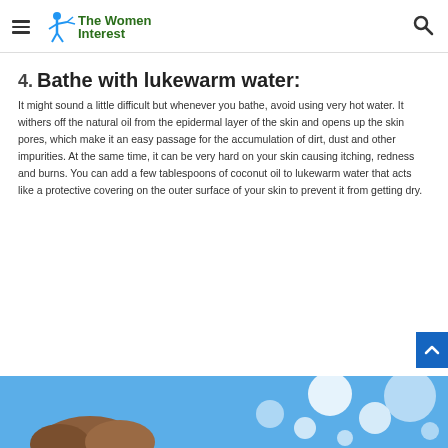The Women Interest
4. Bathe with lukewarm water:
It might sound a little difficult but whenever you bathe, avoid using very hot water. It withers off the natural oil from the epidermal layer of the skin and opens up the skin pores, which make it an easy passage for the accumulation of dirt, dust and other impurities. At the same time, it can be very hard on your skin causing itching, redness and burns. You can add a few tablespoons of coconut oil to lukewarm water that acts like a protective covering on the outer surface of your skin to prevent it from getting dry.
[Figure (photo): Partial photo showing a person with brown hair and blue bubble/bath background]